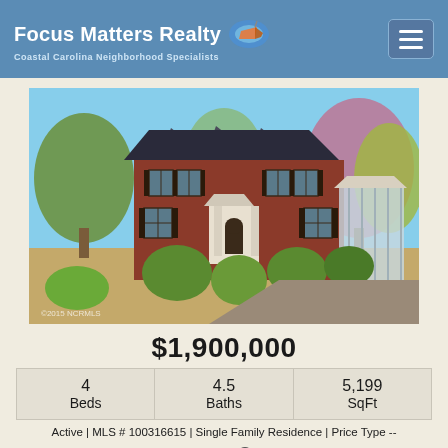Focus Matters Realty — Coastal Carolina Neighborhood Specialists
[Figure (photo): Exterior photo of a large two-story brick colonial-style home with dormers, white portico entry, columned sunroom addition on the right, surrounded by manicured shrubs and trees in spring foliage. Watermark reads '2015 NCRMLS'.]
$1,900,000
| Beds | Baths | SqFt |
| --- | --- | --- |
| 4 | 4.5 | 5,199 |
Active | MLS # 100316615 | Single Family Residence | Price Type --
Save Property   View Property Details